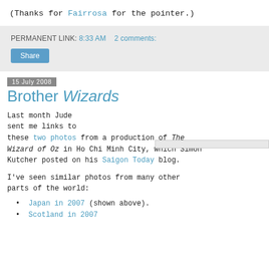(Thanks for Fairrosa for the pointer.)
PERMANENT LINK: 8:33 AM   2 comments:
Share
15 July 2008
Brother Wizards
Last month Jude sent me links to these two photos from a production of The Wizard of Oz in Ho Chi Minh City, which Simon Kutcher posted on his Saigon Today blog.
I've seen similar photos from many other parts of the world:
Japan in 2007 (shown above).
Scotland in 2007